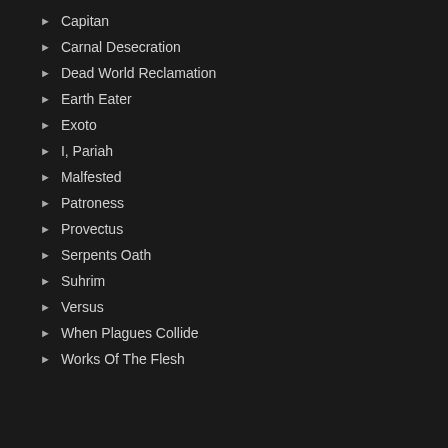Capitan
Carnal Desecration
Dead World Reclamation
Earth Eater
Exoto
I, Pariah
Malfested
Patroness
Provectus
Serpents Oath
Suhrim
Versus
When Plagues Collide
Works Of The Flesh